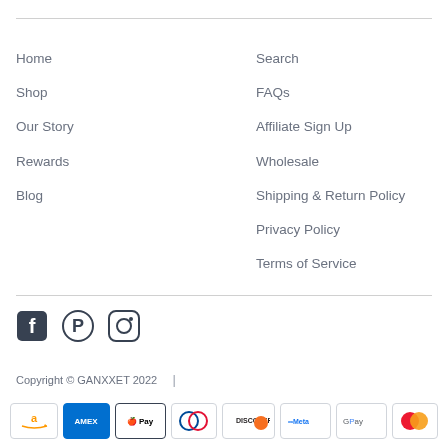Home
Shop
Our Story
Rewards
Blog
Search
FAQs
Affiliate Sign Up
Wholesale
Shipping & Return Policy
Privacy Policy
Terms of Service
[Figure (illustration): Social media icons: Facebook, Pinterest, Instagram]
Copyright © GANXXET 2022  |
[Figure (illustration): Payment method icons: Amazon, Amex, Apple Pay, Diners Club, Discover, Meta Pay, Google Pay, Mastercard]